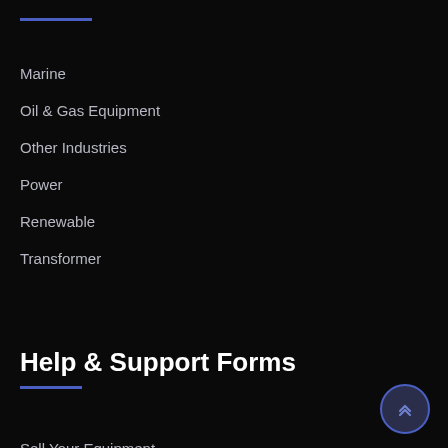Marine
Oil & Gas Equipment
Other Industries
Power
Renewable
Transformer
Help & Support Forms
Sell Your Equipment
Equipment Wanted
Contact Us